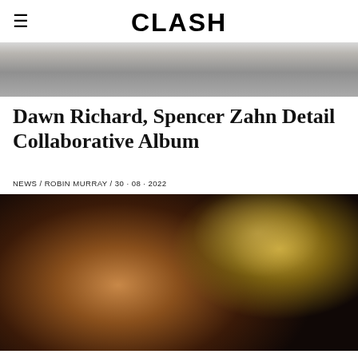CLASH
[Figure (photo): Black and white photo of a person with long hair, cropped to show upper body]
Dawn Richard, Spencer Zahn Detail Collaborative Album
NEWS / ROBIN MURRAY / 30 · 08 · 2022
[Figure (photo): Dark moody photo of a woman with eyes closed holding gold scissors or a decorative metal object, dark background]